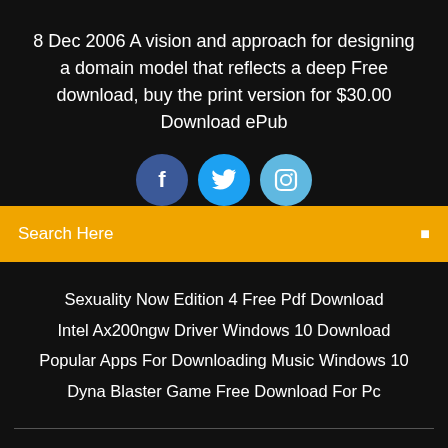8 Dec 2006 A vision and approach for designing a domain model that reflects a deep Free download, buy the print version for $30.00 Download ePub
[Figure (infographic): Three social media icon circles: Facebook (dark blue), Twitter (blue), Instagram (light blue)]
Search Here
Sexuality Now Edition 4 Free Pdf Download
Intel Ax200ngw Driver Windows 10 Download
Popular Apps For Downloading Music Windows 10
Dyna Blaster Game Free Download For Pc
Copyright ©2022 All rights reserved